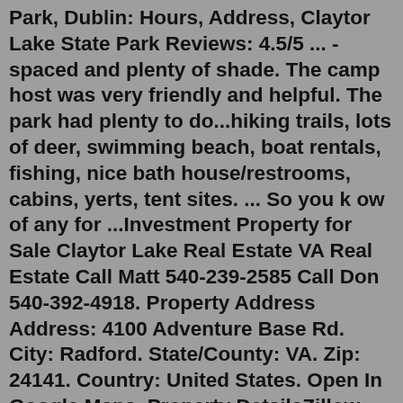Park, Dublin: Hours, Address, Claytor Lake State Park Reviews: 4.5/5 ... -spaced and plenty of shade. The camp host was very friendly and helpful. The park had plenty to do...hiking trails, lots of deer, swimming beach, boat rentals, fishing, nice bath house/restrooms, cabins, yerts, tent sites. ... So you k ow of any for ...Investment Property for Sale Claytor Lake Real Estate VA Real Estate Call Matt 540-239-2585 Call Don 540-392-4918. Property Address Address: 4100 Adventure Base Rd. City: Radford. State/County: VA. Zip: 24141. Country: United States. Open In Google Maps. Property DetailsZillow has 18 homes for sale in Dublin VA matching Claytor Lake. View listing photos, review sales history, and use our detailed real estate filters to find the perfect place. Take a closer look at this $485,034, 4 bed, 4 bath, 2,662 SqFt, Single Family for sale, located at 136 CLAYTOR LAKE COURT in Wilmington, NC 28401.Bluestone Lake Real Estate, Homes and Property. Including Homes for Sale by Owner and Home Search... For Sale By Owner Agent/Dealer...